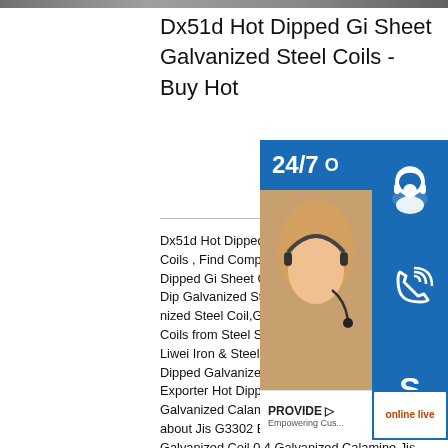[Figure (photo): Partial view of galvanized steel coil product image at top of page]
Dx51d Hot Dipped Gi Sheet Galvanized Steel Coils - Buy Hot
Dx51d Hot Dipped Gi Sheet Galvanized Steel Coils , Find Complete Details about Dx51d Hot Dipped Gi Sheet Galvanized Steel Coils,Hot Dip Galvanized Steel Coil,Dx51d Z100 Galvanized Steel Coil,Gi Sheet Galvanized Steel Coils from Steel Sheet Manufacturer-Tianjin Liwei Iron & Steel info Jis G3302 Exporter Hot Dipped Galvanized Coil 0.4 Jis G3302 Exporter Hot Dipped Galvanized Coil 0.4 Galvanized Calamine , Find Complete Details about Jis G3302 Exporter Hot Dipped Galvanized Coil 0.4 Galvanized Calamine,Jis G3302 Exporter,Hot Dipped Galvanized Coil 0.4,Galvanized Calamine from Steel Sheets Supplier or Manufacturer-Tianjin Muchang Materials Imp. & Exp. Corp sp.info
[Figure (infographic): Customer service overlay with 24/7 text, headset icon, phone icon, Skype icon, person photo with headset, PROVIDE Empowering Customers text, and online live button]